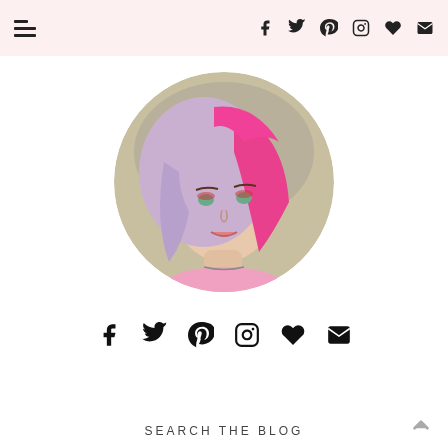Navigation header with hamburger menu and social icons (Facebook, Twitter, Pinterest, Instagram, Heart, Email)
[Figure (photo): Circular profile photo of a young woman with pink and lavender hair, wearing pink, with dramatic eye makeup, smiling slightly at the camera. Background is a blurred indoor room.]
[Figure (infographic): Row of social media icons: Facebook, Twitter, Pinterest, Instagram, Heart (Bloglovin), Email/envelope]
SEARCH THE BLOG